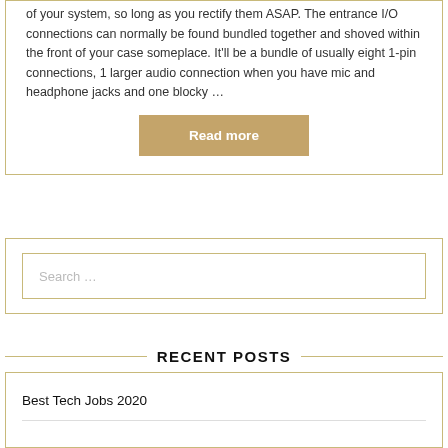of your system, so long as you rectify them ASAP. The entrance I/O connections can normally be found bundled together and shoved within the front of your case someplace. It'll be a bundle of usually eight 1-pin connections, 1 larger audio connection when you have mic and headphone jacks and one blocky …
Read more
[Figure (other): Search box with placeholder text 'Search …']
RECENT POSTS
Best Tech Jobs 2020